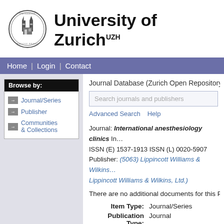[Figure (logo): University of Zurich circular seal/crest logo]
University of Zurich UZH
Home | Login | Contact
Browse by:
Journal/Series
Publisher
Communities & Collections
Journal Database (Zurich Open Repository and Ar…
Search journals and publishers
Advanced Search   Help
Journal: International anesthesiology clinics In… ISSN (E) 1537-1913 ISSN (L) 0020-5907 Publisher: (5063) Lippincott Williams & Wilkins Lippincott Williams & Wilkins, Ltd.)
There are no additional documents for this Publishe…
Item Type:  Journal/Series
Publication Type:  Journal